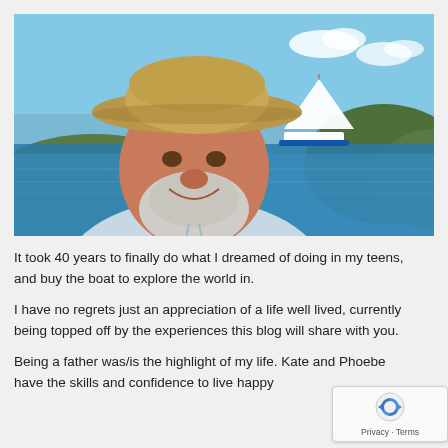[Figure (photo): Outdoor photograph of a smiling middle-aged man with a grey beard wearing a wide-brim straw hat and an open light blue shirt. He is on a boat with blue ocean water behind him, a white sailboat/catamaran visible in the background, and green hills and a clear blue sky.]
It took 40 years to finally do what I dreamed of doing in my teens, and buy the boat to explore the world in.
I have no regrets just an appreciation of a life well lived, currently being topped off by the experiences this blog will share with you.
Being a father was/is the highlight of my life. Kate and Phoebe have the skills and confidence to live happy